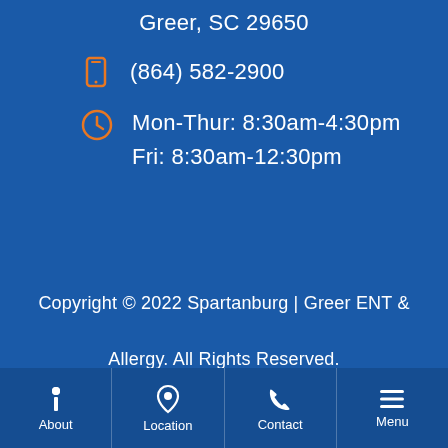Greer, SC 29650
(864) 582-2900
Mon-Thur: 8:30am-4:30pm
Fri: 8:30am-12:30pm
Copyright © 2022 Spartanburg | Greer ENT & Allergy. All Rights Reserved.
Policies
About | Location | Contact | Menu